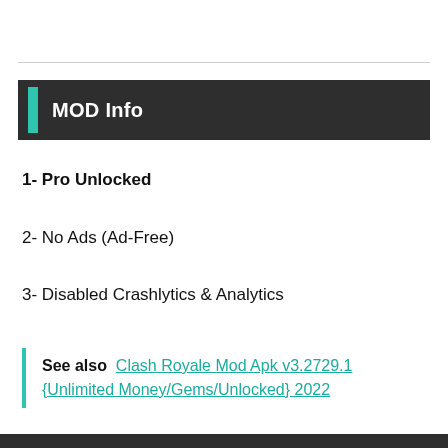MOD Info
1- Pro Unlocked
2- No Ads (Ad-Free)
3- Disabled Crashlytics & Analytics
See also  Clash Royale Mod Apk v3.2729.1 {Unlimited Money/Gems/Unlocked} 2022